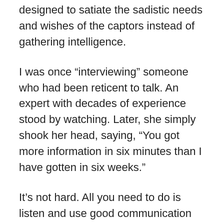designed to satiate the sadistic needs and wishes of the captors instead of gathering intelligence.
I was once “interviewing” someone who had been reticent to talk. An expert with decades of experience stood by watching. Later, she simply shook her head, saying, “You got more information in six minutes than I have gotten in six weeks.”
It’s not hard. All you need to do is listen and use good communication skills. Incidentally, that has been a lifelong interest of mine. I did my doctoral dissertation on the subject of communication skills and how easily a poor communicator can go off into the weeds, causing more harm than good.
If this were a “war” in the truest sense of the word, the criminals would have been lobbing mortar shells into that